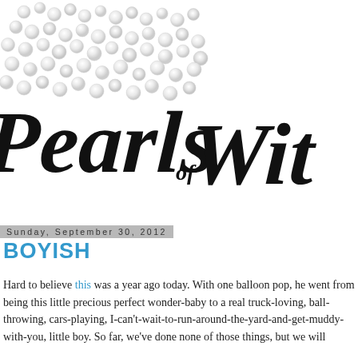[Figure (photo): Blog header image showing pearl necklaces/beads on white background with decorative cursive script logo reading 'Pearls of Wit' overlaid]
Sunday, September 30, 2012
BOYISH
Hard to believe this was a year ago today. With one balloon pop, he went from being this little precious perfect wonder-baby to a real truck-loving, ball-throwing, cars-playing, I-can't-wait-to-run-around-the-yard-and-get-muddy-with-you, little boy. So far, we've done none of those things, but we will